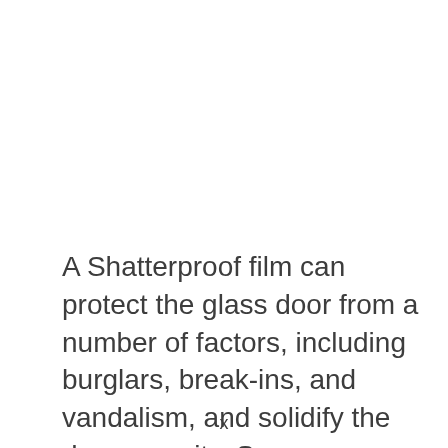A Shatterproof film can protect the glass door from a number of factors, including burglars, break-ins, and vandalism, and solidify the door security. Some even
x